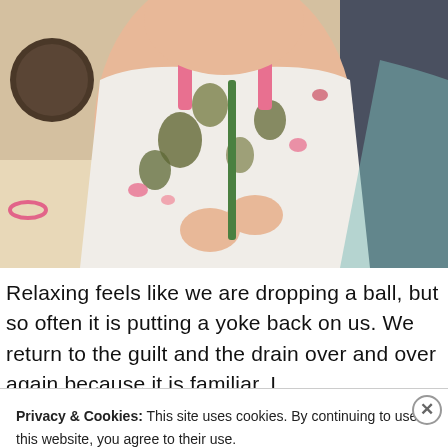[Figure (photo): Photo of a young child/toddler in a floral dress, holding something, seated at a table. Partial body view showing torso, hands, and lap area.]
Relaxing feels like we are dropping a ball, but so often it is putting a yoke back on us. We return to the guilt and the drain over and over again because it is familiar. I
Privacy & Cookies: This site uses cookies. By continuing to use this website, you agree to their use.
To find out more, including how to control cookies, see here: Cookie Policy
Close and accept